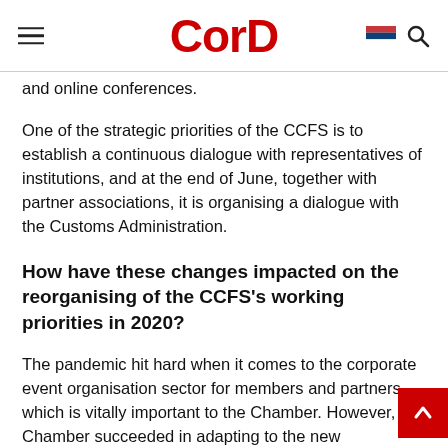CorD
and online conferences.
One of the strategic priorities of the CCFS is to establish a continuous dialogue with representatives of institutions, and at the end of June, together with partner associations, it is organising a dialogue with the Customs Administration.
How have these changes impacted on the reorganising of the CCFS's working priorities in 2020?
The pandemic hit hard when it comes to the corporate event organisation sector for members and partners, which is vitally important to the Chamber. However, the Chamber succeeded in adapting to the new